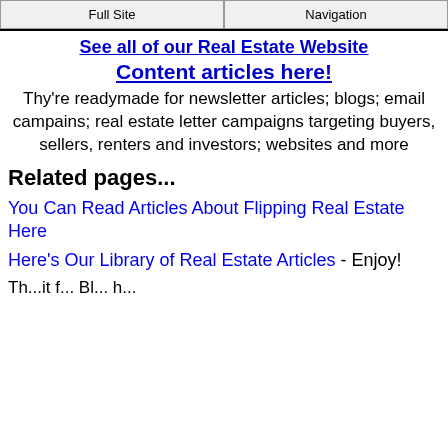Full Site | Navigation
See all of our Real Estate Website Content articles here!
Thy're readymade for newsletter articles; blogs; email campains; real estate letter campaigns targeting buyers, sellers, renters and investors; websites and more
Related pages...
You Can Read Articles About Flipping Real Estate Here
Here's Our Library of Real Estate Articles - Enjoy!
Th...it f... Bl... h...